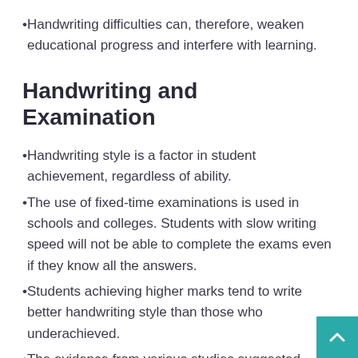Handwriting difficulties can, therefore, weaken educational progress and interfere with learning.
Handwriting and Examination
Handwriting style is a factor in student achievement, regardless of ability.
The use of fixed-time examinations is used in schools and colleges. Students with slow writing speed will not be able to complete the exams even if they know all the answers.
Students achieving higher marks tend to write better handwriting style than those who underachieved.
The evidence from various studies suggested